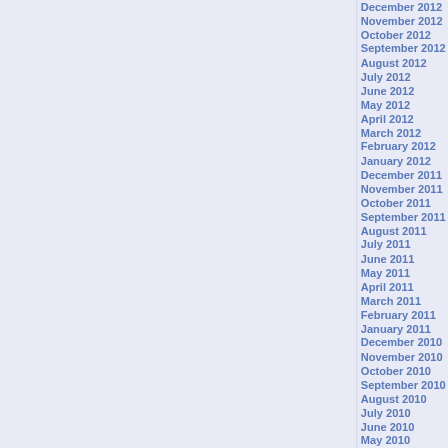December 2012
November 2012
October 2012
September 2012
August 2012
July 2012
June 2012
May 2012
April 2012
March 2012
February 2012
January 2012
December 2011
November 2011
October 2011
September 2011
August 2011
July 2011
June 2011
May 2011
April 2011
March 2011
February 2011
January 2011
December 2010
November 2010
October 2010
September 2010
August 2010
July 2010
June 2010
May 2010
April 2010